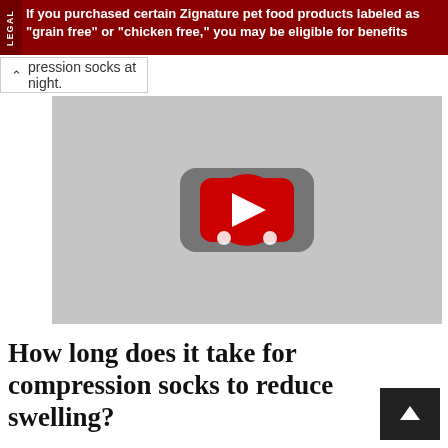If you purchased certain Zignature pet food products labeled as "grain free" or "chicken free," you may be eligible for benefits
pression socks at night.
[Figure (screenshot): YouTube video thumbnail placeholder showing a grey background with the YouTube play button icon (red rectangle with white triangle) in the center.]
How long does it take for compression socks to reduce swelling?